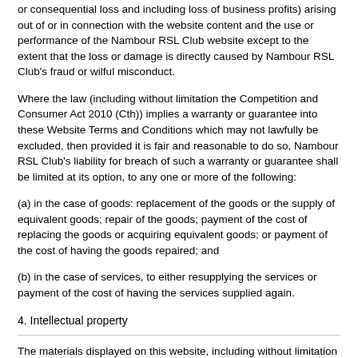or consequential loss and including loss of business profits) arising out of or in connection with the website content and the use or performance of the Nambour RSL Club website except to the extent that the loss or damage is directly caused by Nambour RSL Club's fraud or wilful misconduct.
Where the law (including without limitation the Competition and Consumer Act 2010 (Cth)) implies a warranty or guarantee into these Website Terms and Conditions which may not lawfully be excluded, then provided it is fair and reasonable to do so, Nambour RSL Club's liability for breach of such a warranty or guarantee shall be limited at its option, to any one or more of the following:
(a) in the case of goods: replacement of the goods or the supply of equivalent goods; repair of the goods; payment of the cost of replacing the goods or acquiring equivalent goods; or payment of the cost of having the goods repaired; and
(b) in the case of services, to either resupplying the services or payment of the cost of having the services supplied again.
4. Intellectual property
The materials displayed on this website, including without limitation all